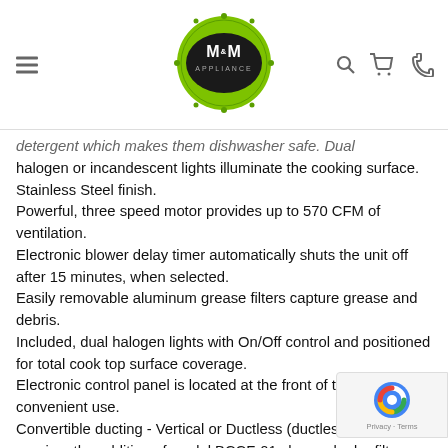M&M Appliance — navigation header with logo, search, cart, and phone icons
detergent which makes them dishwasher safe. Dual halogen or incandescent lights illuminate the cooking surface.
Stainless Steel finish.
Powerful, three speed motor provides up to 570 CFM of ventilation.
Electronic blower delay timer automatically shuts the unit off after 15 minutes, when selected.
Easily removable aluminum grease filters capture grease and debris.
Included, dual halogen lights with On/Off control and positioned for total cook top surface coverage.
Electronic control panel is located at the front of the hood for convenient use.
Convertible ducting - Vertical or Ductless (ductless operation requires the addition of model BCCF-01 charcoal odor filters - not included).
Chimney extensions available for higher ceilings so separately (GRASE).
HVI Certified performance.